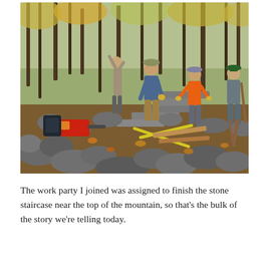[Figure (photo): Outdoor photo of four workers on a rocky hillside trail in an autumn forest. One person in a blue jacket and tan pants bends over rocks in the foreground. Another worker in an orange shirt stands in the center. A third person in a green hat stands to the right with a tool. A fourth person is visible on the left. A red chainsaw and tools including yellow-handled rakes and wooden boards lie on the ground among large stones. Trees with sparse autumn leaves surround the scene.]
The work party I joined was assigned to finish the stone staircase near the top of the mountain, so that's the bulk of the story we're telling today.